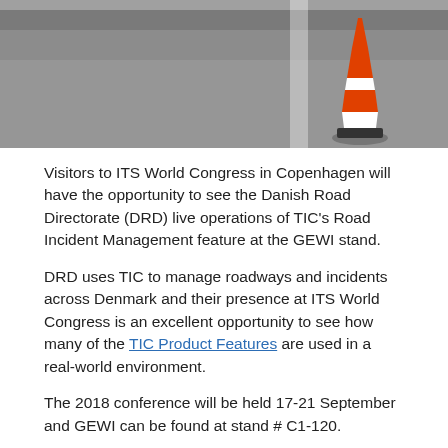[Figure (photo): Photo of a road surface with an orange and white traffic cone in the right portion of the image, taken from a low angle showing asphalt with white road markings.]
Visitors to ITS World Congress in Copenhagen will have the opportunity to see the Danish Road Directorate (DRD) live operations of TIC's Road Incident Management feature at the GEWI stand.
DRD uses TIC to manage roadways and incidents across Denmark and their presence at ITS World Congress is an excellent opportunity to see how many of the TIC Product Features are used in a real-world environment.
The 2018 conference will be held 17-21 September and GEWI can be found at stand # C1-120.
Click here for more details on GEWI's exhibit at the World Congress.
ITS America Webinar on Smart Work Zones Scheduled for September 6th